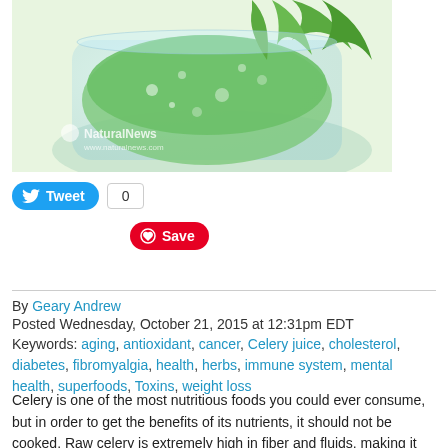[Figure (photo): Close-up photo of a green celery smoothie/juice in a glass jar with celery leaves, bubbling green liquid, NaturalNews watermark visible]
Tweet  0  Save
By Geary Andrew
Posted Wednesday, October 21, 2015 at 12:31pm EDT
Keywords: aging, antioxidant, cancer, Celery juice, cholesterol, diabetes, fibromyalgia, health, herbs, immune system, mental health, superfoods, Toxins, weight loss
Celery is one of the most nutritious foods you could ever consume, but in order to get the benefits of its nutrients, it should not be cooked. Raw celery is extremely high in fiber and fluids, making it ideal for hydrating the body, prevent Alzheimer's disease, dissolves calculus, natural aphrodisiac, aiding in digestion,